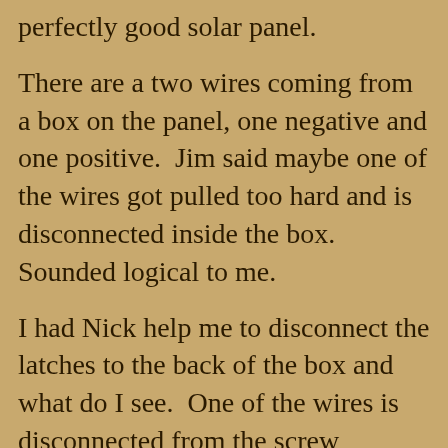perfectly good solar panel.
There are a two wires coming from a box on the panel, one negative and one positive.  Jim said maybe one of the wires got pulled too hard and is disconnected inside the box.  Sounded logical to me.
I had Nick help me to disconnect the latches to the back of the box and what do I see.  One of the wires is disconnected from the screw holding it in place.  That will be an easy fix tomorrow.  By this time the sun was almost gone and time to fix dinner.  Got a call from Solar Bill on the inverter and he told me it is toast.  Bummer ☹